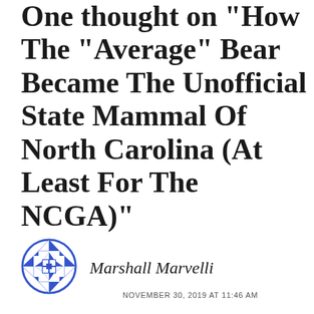One thought on "How The "Average" Bear Became The Unofficial State Mammal Of North Carolina (At Least For The NCGA)"
[Figure (logo): Blue and white geometric quilt-star logo avatar for Marshall Marvelli]
Marshall Marvelli
NOVEMBER 30, 2019 AT 11:46 AM